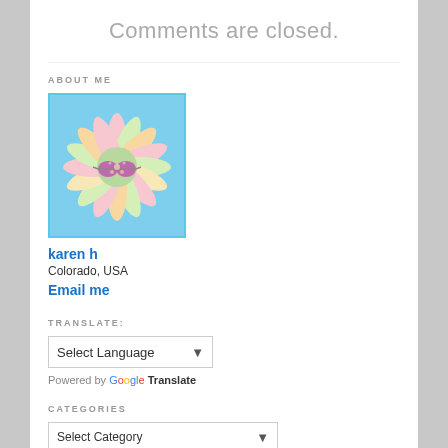Comments are closed.
ABOUT ME
[Figure (photo): Profile photo of a colorful daisy flower with pink/purple sunglasses on a blue background]
karen h
Colorado, USA
Email me
TRANSLATE:
Select Language
Powered by Google Translate
CATEGORIES
Select Category